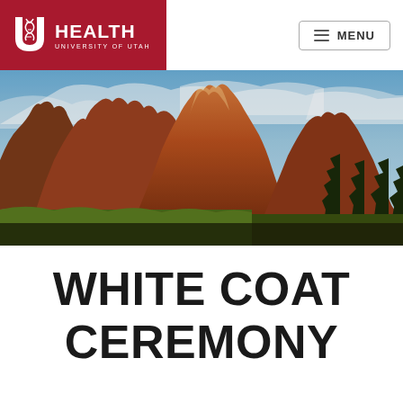[Figure (logo): University of Utah Health logo in white on dark red background]
[Figure (photo): Panoramic landscape photo of red rock Utah mountains (Zion National Park area) with dramatic sky and trees]
WHITE COAT CEREMONY